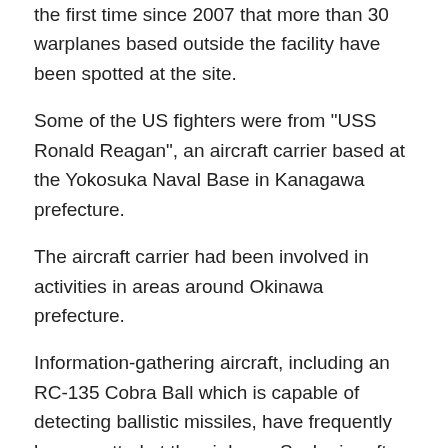the first time since 2007 that more than 30 warplanes based outside the facility have been spotted at the site.
Some of the US fighters were from "USS Ronald Reagan", an aircraft carrier based at the Yokosuka Naval Base in Kanagawa prefecture.
The aircraft carrier had been involved in activities in areas around Okinawa prefecture.
Information-gathering aircraft, including an RC-135 Cobra Ball which is capable of detecting ballistic missiles, have frequently been spotted at the air base. Such aircraft are thought to be involved in the surveillance of areas around the Korean Peninsula and nearby seas.